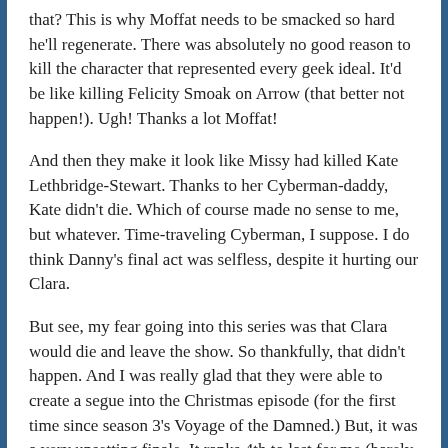that? This is why Moffat needs to be smacked so hard he'll regenerate. There was absolutely no good reason to kill the character that represented every geek ideal. It'd be like killing Felicity Smoak on Arrow (that better not happen!). Ugh! Thanks a lot Moffat!
And then they make it look like Missy had killed Kate Lethbridge-Stewart. Thanks to her Cyberman-daddy, Kate didn't die. Which of course made no sense to me, but whatever. Time-traveling Cyberman, I suppose. I do think Danny's final act was selfless, despite it hurting our Clara.
But see, my fear going into this series was that Clara would die and leave the show. So thankfully, that didn't happen. And I was really glad that they were able to create a segue into the Christmas episode (for the first time since season 3's Voyage of the Damned.) But, it was a very upsetting finale. It ranks 4th to last for me (barely above Time Heist) on the 8th series. And the only reason it edges that out is because Osgood said "bow ties are cool".
So, that's my review of the 8th Series of Doctor Who.